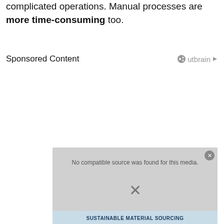complicated operations. Manual processes are more time-consuming too.
Sponsored Content
[Figure (screenshot): Video player overlay showing 'No compatible source was found for this media.' with an X symbol and a close button. Below is a light blue banner with 'SUSTAINABLE MATERIAL SOURCING' text.]